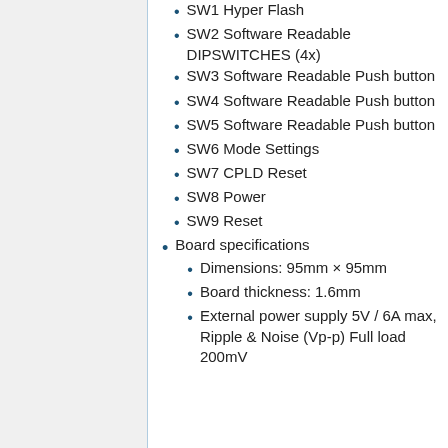SW1 Hyper Flash
SW2 Software Readable DIPSWITCHES (4x)
SW3 Software Readable Push button
SW4 Software Readable Push button
SW5 Software Readable Push button
SW6 Mode Settings
SW7 CPLD Reset
SW8 Power
SW9 Reset
Board specifications
Dimensions: 95mm × 95mm
Board thickness: 1.6mm
External power supply 5V / 6A max, Ripple & Noise (Vp-p) Full load 200mV